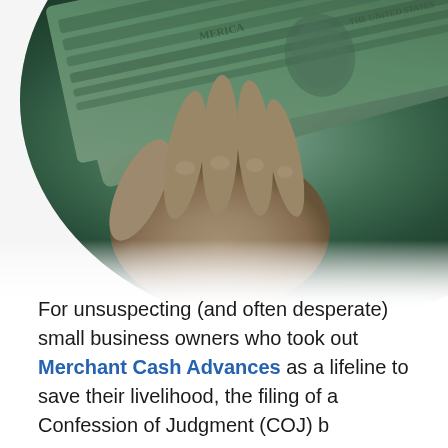[Figure (photo): Close-up photo of a hand holding a rolled bundle of US dollar bills, clipped in a circular crop. The image shows green currency notes with a hand gripping them.]
For unsuspecting (and often desperate) small business owners who took out Merchant Cash Advances as a lifeline to save their livelihood, the filing of a Confession of Judgment (COJ) becomes the business owner's bldl...